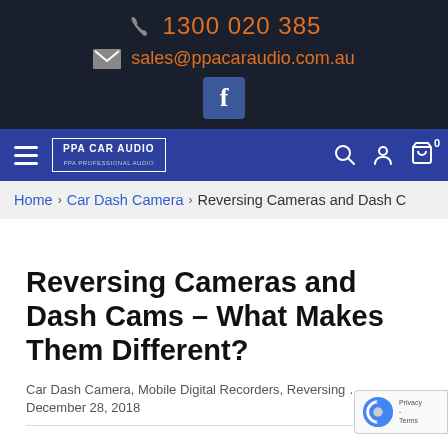1300 020 385
sales@ppacaraudio.com.au
[Figure (logo): PPA Car Audio navigation bar with hamburger menu, logo, search, account, and cart icons]
Home > Car Dash Camera > Reversing Cameras and Dash C
Reversing Cameras and Dash Cams – What Makes Them Different?
Car Dash Camera, Mobile Digital Recorders, Reversing Cam
December 28, 2018